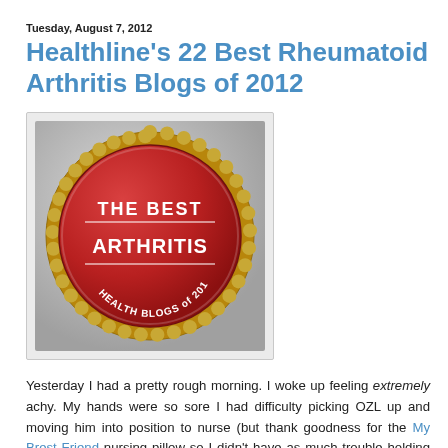Tuesday, August 7, 2012
Healthline's 22 Best Rheumatoid Arthritis Blogs of 2012
[Figure (illustration): A red circular badge/seal with gold scalloped border. Text reads 'THE BEST' at the top, 'ARTHRITIS' in the center, and 'HEALTH BLOGS of 2012' along the bottom curve.]
Yesterday I had a pretty rough morning. I woke up feeling extremely achy. My hands were so sore I had difficulty picking OZL up and moving him into position to nurse (but thank goodness for the My Brest Friend nursing pillow so I didn't have as much trouble holding him in place once I got him there!) Once we finished nursing, my feet were so